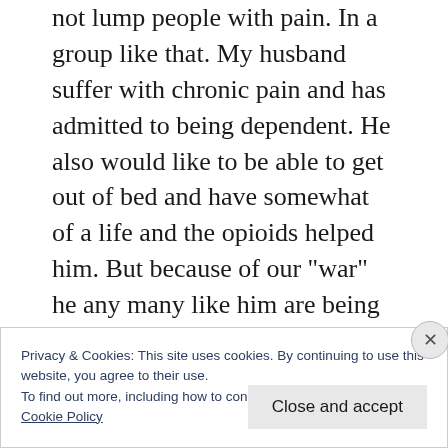not lump people with pain. In a group like that. My husband suffer with chronic pain and has admitted to being dependent. He also would like to be able to get out of bed and have somewhat of a life and the opioids helped him. But because of our "war" he any many like him are being lumped. He is not homeless or committing crimes to get pain meds. He is not hurting anyone.some Doctors and parmicutical companys are trying to cover there buts. The real doctors that are not
Privacy & Cookies: This site uses cookies. By continuing to use this website, you agree to their use.
To find out more, including how to control cookies, see here:
Cookie Policy